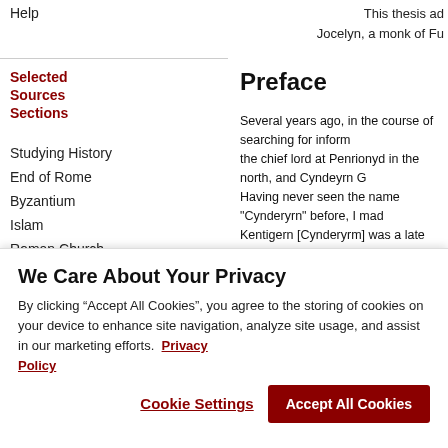Help
This thesis ad Jocelyn, a monk of Fu
Selected Sources Sections
Studying History
End of Rome
Byzantium
Islam
Roman Church
Early Germans
Anglo-Saxons
Celtic World
Preface
Several years ago, in the course of searching for inform the chief lord at Penrionyd in the north, and Cyndeyrn G Having never seen the name "Cynderyrn" before, I mad Kentigern [Cynderyrm] was a late sixth century bishop w reference to Cynderyrn showed up in the Bonedd y Sain Dwynwen the daughter of Llewddyn Lueddag of Dinas B kingdoms that were under increasing pressure by the ex which I am interested as there are so few extant primary Cynderyrm to the kingdoms of Rheged and Lothian, and relation to the rise of the Anglo-Saxon kingdoms of Ber
We Care About Your Privacy
By clicking “Accept All Cookies”, you agree to the storing of cookies on your device to enhance site navigation, analyze site usage, and assist in our marketing efforts. Privacy Policy
Cookie Settings
Accept All Cookies